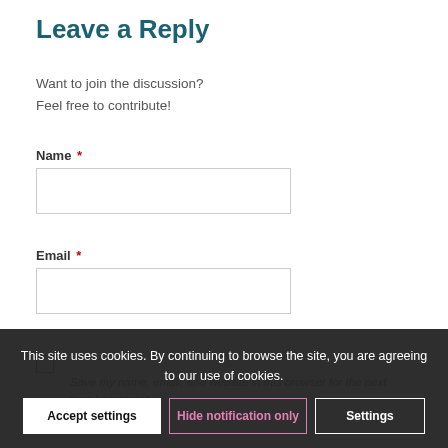Leave a Reply
Want to join the discussion?
Feel free to contribute!
Name *
Email *
Save my name, email, and website in this browser for the next time I comment.
This site uses cookies. By continuing to browse the site, you are agreeing to our use of cookies.